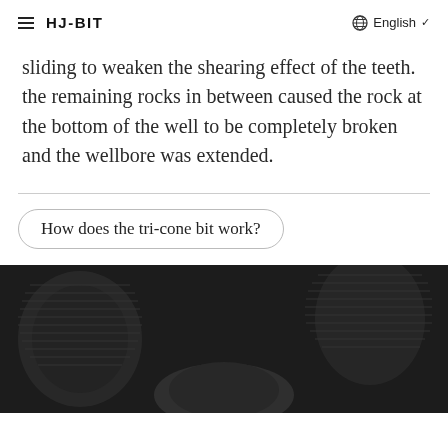HJ-BIT   English
sliding to weaken the shearing effect of the teeth. the remaining rocks in between caused the rock at the bottom of the well to be completely broken and the wellbore was extended.
How does the tri-cone bit work?
[Figure (photo): Dark industrial photo showing threaded metal drilling bit components, dark background]